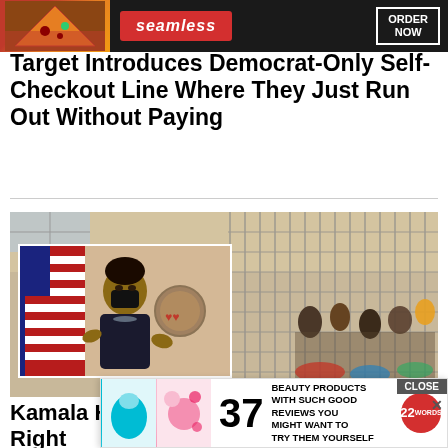[Figure (photo): Seamless food delivery advertisement banner with pizza imagery, red Seamless logo, and ORDER NOW button]
Target Introduces Democrat-Only Self-Checkout Line Where They Just Run Out Without Paying
[Figure (photo): Background photo of a crowded detention facility with chain-link fencing. Inset photo of Kamala Harris wearing a black mask, gesturing with hands, with American flags in background. POD label visible.]
Kamala Harris Still Searching For the Right...Bor...
[Figure (photo): Bottom advertisement: 37 beauty products with good reviews you might want to try them yourself, with 22words badge. Shows product images including a blue sponge and beauty items.]